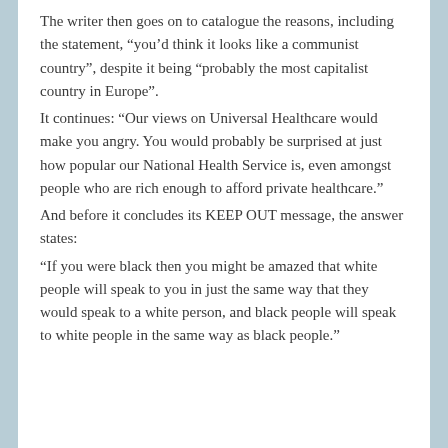The writer then goes on to catalogue the reasons, including the statement, “you’d think it looks like a communist country”, despite it being “probably the most capitalist country in Europe”.
It continues: “Our views on Universal Healthcare would make you angry. You would probably be surprised at just how popular our National Health Service is, even amongst people who are rich enough to afford private healthcare.”
And before it concludes its KEEP OUT message, the answer states:
“If you were black then you might be amazed that white people will speak to you in just the same way that they would speak to a white person, and black people will speak to white people in the same way as black people.”